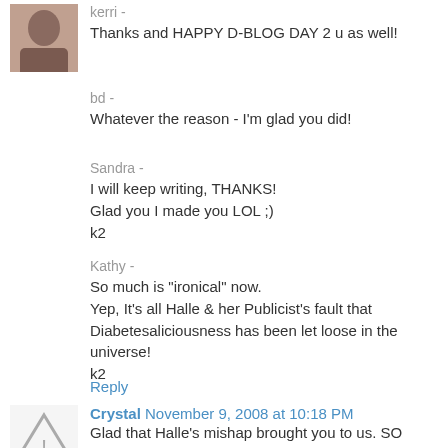[Figure (photo): Small profile photo of a person (avatar) in the top left corner]
kerri -
Thanks and HAPPY D-BLOG DAY 2 u as well!
bd -
Whatever the reason - I'm glad you did!
Sandra -
I will keep writing, THANKS!
Glad you I made you LOL ;)
k2
Kathy -
So much is "ironical" now.
Yep, It's all Halle & her Publicist's fault that Diabetesaliciousness has been let loose in the universe!
k2
Reply
[Figure (illustration): Triangle warning/alert icon used as avatar for Crystal's comment]
Crystal  November 9, 2008 at 10:18 PM
Glad that Halle's mishap brought you to us. SO glad.